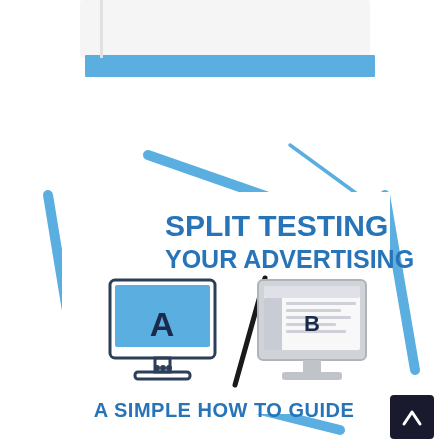[Figure (illustration): Book cover graphic with blue stripe at top, diagonal blue accent lines, two computer monitor icons labeled A and B with a diagonal slash between them, title text 'SPLIT TESTING YOUR ADVERTISING' and subtitle 'A SIMPLE HOW TO GUIDE']
SPLIT TESTING YOUR ADVERTISING
A SIMPLE HOW TO GUIDE